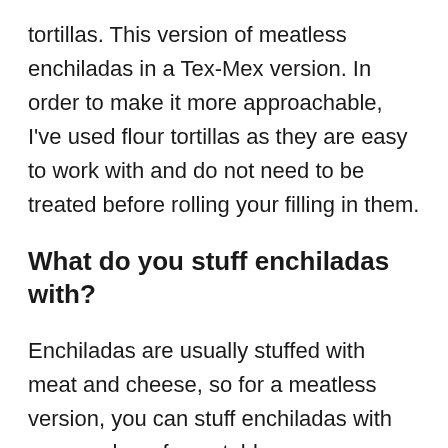tortillas. This version of meatless enchiladas in a Tex-Mex version. In order to make it more approachable, I've used flour tortillas as they are easy to work with and do not need to be treated before rolling your filling in them.
What do you stuff enchiladas with?
Enchiladas are usually stuffed with meat and cheese, so for a meatless version, you can stuff enchiladas with any number of vegetables.
I find the best fillings with the biggest impact and mushrooms and onions, but I also love peppers,